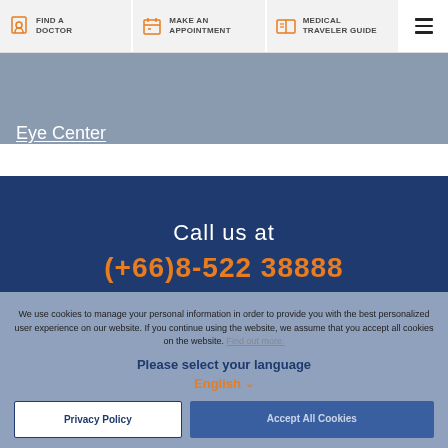FIND A DOCTOR | MAKE AN APPOINTMENT | MEDICAL TRAVELER GUIDE
Eye Center
Call us at
(+66)8-522 38888
We use cookies to manage your personal information in order to provide you with the best personalized user experience on our website. If you continue using the website, we assume that you accept all cookies on the website. Find out more.
Please select your language
English
Privacy Policy
Accept All Cookies